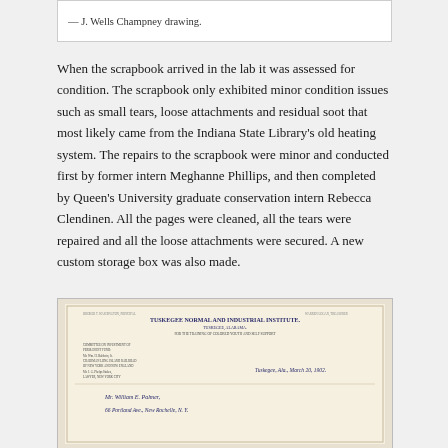— J. Wells Champney drawing.
When the scrapbook arrived in the lab it was assessed for condition. The scrapbook only exhibited minor condition issues such as small tears, loose attachments and residual soot that most likely came from the Indiana State Library's old heating system. The repairs to the scrapbook were minor and conducted first by former intern Meghanne Phillips, and then completed by Queen's University graduate conservation intern Rebecca Clendinen. All the pages were cleaned, all the tears were repaired and all the loose attachments were secured. A new custom storage box was also made.
[Figure (photo): A historical letter on Tuskegee Normal and Industrial Institute letterhead, dated March 20, 1902, addressed to Mr. William E. Palmer.]